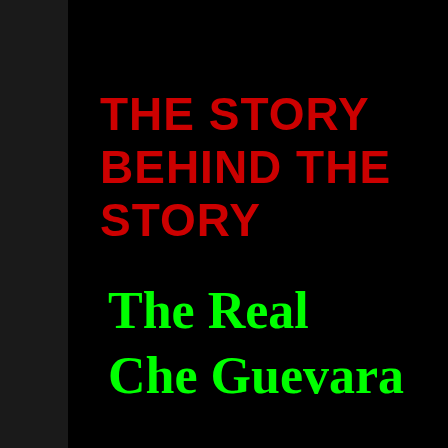THE STORY BEHIND THE STORY
The Real Che Guevara